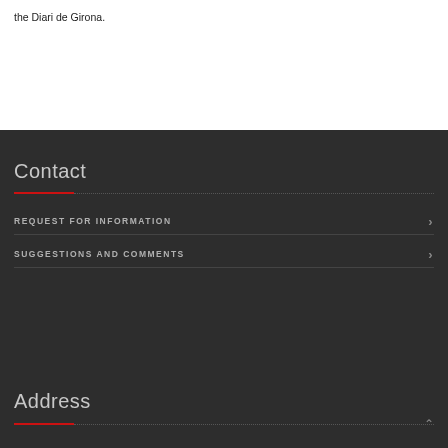the Diari de Girona.
Contact
REQUEST FOR INFORMATION
SUGGESTIONS AND COMMENTS
Address